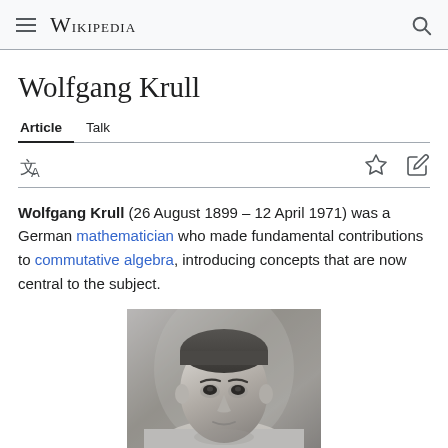≡  WIKIPEDIA  🔍
Wolfgang Krull
Article  Talk
Wolfgang Krull (26 August 1899 – 12 April 1971) was a German mathematician who made fundamental contributions to commutative algebra, introducing concepts that are now central to the subject.
[Figure (photo): Black and white portrait photograph of Wolfgang Krull]